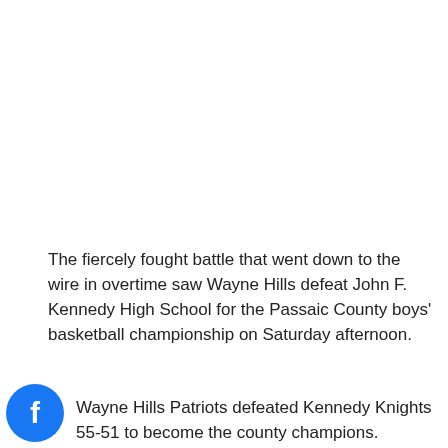The fiercely fought battle that went down to the wire in overtime saw Wayne Hills defeat John F. Kennedy High School for the Passaic County boys' basketball championship on Saturday afternoon.
[Figure (illustration): Facebook social share icon (blue circle with white 'f' logo)]
[Figure (illustration): Twitter social share icon (blue circle with white bird logo)]
Wayne Hills Patriots defeated Kennedy Knights 55-51 to become the county champions.
The low scoring, initial 5 minutes was highlighted by defense. Both the Patriots and the Knights exchanged fouls, turnovers, and missed shots. Wayne Hills was the first to turn up the scoring thermometer, courtesy of an offensive rebound and kick-out assist by senior center, Jason Modak. The pass went to fellow senior, forward Joe Cerone, for a 20-foot jumper near the key.  However, any rally the score may have sparked was quenched by two consecutive Patriot turnovers